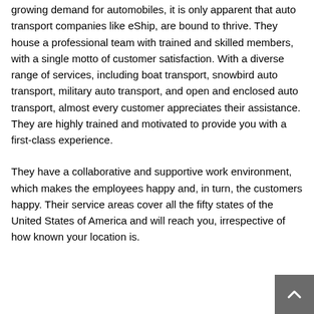growing demand for automobiles, it is only apparent that auto transport companies like eShip, are bound to thrive. They house a professional team with trained and skilled members, with a single motto of customer satisfaction. With a diverse range of services, including boat transport, snowbird auto transport, military auto transport, and open and enclosed auto transport, almost every customer appreciates their assistance. They are highly trained and motivated to provide you with a first-class experience.
They have a collaborative and supportive work environment, which makes the employees happy and, in turn, the customers happy. Their service areas cover all the fifty states of the United States of America and will reach you, irrespective of how known your location is.